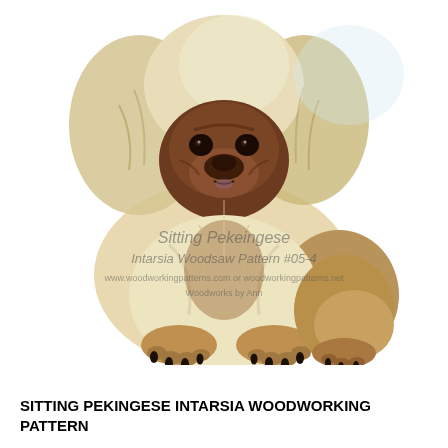[Figure (illustration): Color illustration of a sitting Pekingese dog with fluffy cream and brown fur, dark brown face with wrinkled features, paws extended forward, with a watermark overlay reading 'Sitting Pekingese Intarsia Woodworking Pattern' and a website URL.]
SITTING PEKINGESE INTARSIA WOODWORKING PATTERN